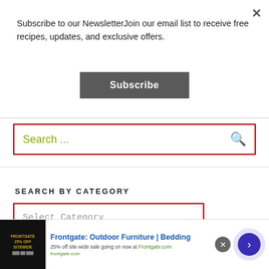Subscribe to our NewsletterJoin our email list to receive free recipes, updates, and exclusive offers.
Subscribe
[Figure (screenshot): Search input box with red border and olive/green placeholder text 'Search ...' and a green magnifying glass icon on the right]
SEARCH BY CATEGORY
[Figure (screenshot): Category dropdown selector with red border, showing 'Select Category' placeholder text in monospace gray font and a gray chevron/arrow on the right]
[Figure (screenshot): Advertisement banner for Frontgate: Outdoor Furniture | Bedding. Shows '25% off site wide sale going on now at Frontgate.com'. Includes a dark thumbnail image with gold text, a blue arrow circle button, and a close X button.]